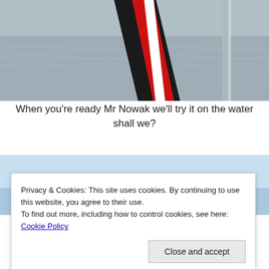[Figure (photo): Close-up of a black, red, and white flag or sail on a boat with water in the background]
When you’re ready Mr Nowak we’ll try it on the water shall we?
[Figure (photo): Partial view of a second photo showing blue sky and boat]
Privacy & Cookies: This site uses cookies. By continuing to use this website, you agree to their use.
To find out more, including how to control cookies, see here: Cookie Policy